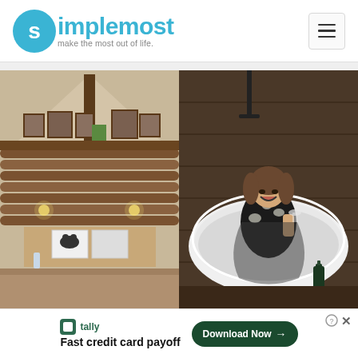[Figure (logo): Simplemost logo with blue circle containing 's', teal text 'simplemost', tagline 'make the most out of life.']
[Figure (photo): Two side-by-side photos: left shows interior of a rustic log cabin with high vaulted wooden ceiling, bed with bear pillow, dining chairs; right shows a woman laughing while sitting in a freestanding white bathtub in a dark wood-paneled room with a wine bottle on the floor.]
tally  Fast credit card payoff  Download Now →